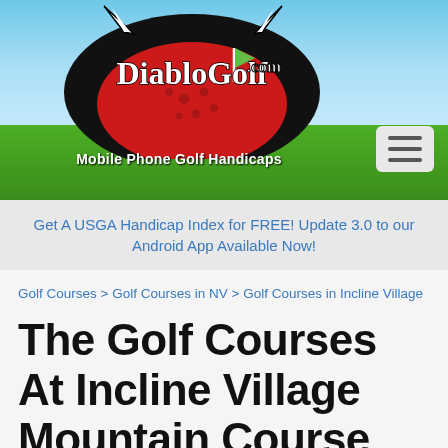[Figure (logo): DiabloGolf.com logo with devil golf ball mascot and 'Mobile Phone Golf Handicaps' tagline on a sky and grass background banner]
Get A USGA Handicap Index for FREE! Update 3.0 to our Android App Available Now!
Golf Courses > Golf Courses in NV > Golf Courses in Incline Village
The Golf Courses At Incline Village Mountain Course
Course Details